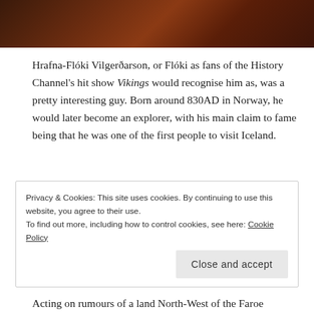[Figure (photo): Dark reddish-brown wood texture image at the top of the page]
Hrafna-Flóki Vilgerðarson, or Flóki as fans of the History Channel's hit show Vikings would recognise him as, was a pretty interesting guy. Born around 830AD in Norway, he would later become an explorer, with his main claim to fame being that he was one of the first people to visit Iceland.
[Figure (infographic): Pocket Casts advertisement: 'The go-to app for podcast lovers.' with app icon and Pocket Casts logo]
Acting on rumours of a land North-West of the Faroe Islands, Flóki set
Privacy & Cookies: This site uses cookies. By continuing to use this website, you agree to their use.
To find out more, including how to control cookies, see here: Cookie Policy
Close and accept